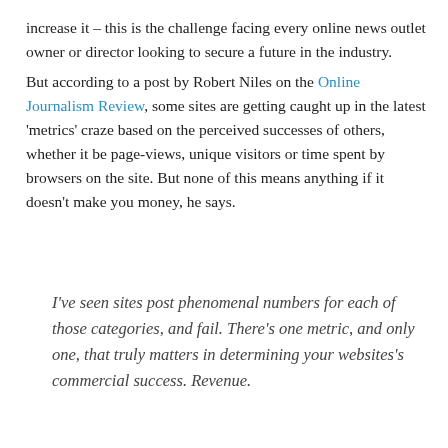increase it – this is the challenge facing every online news outlet owner or director looking to secure a future in the industry.
But according to a post by Robert Niles on the Online Journalism Review, some sites are getting caught up in the latest 'metrics' craze based on the perceived successes of others, whether it be page-views, unique visitors or time spent by browsers on the site. But none of this means anything if it doesn't make you money, he says.
I've seen sites post phenomenal numbers for each of those categories, and fail. There's one metric, and only one, that truly matters in determining your websites's commercial success. Revenue.